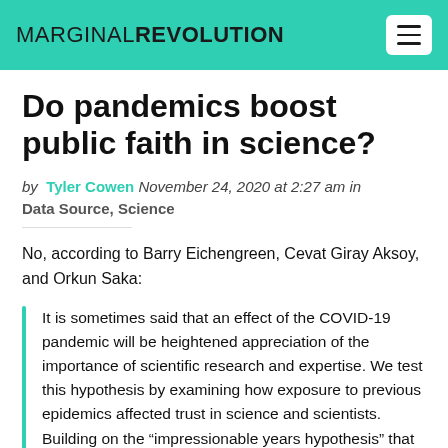MARGINAL REVOLUTION
Do pandemics boost public faith in science?
by Tyler Cowen November 24, 2020 at 2:27 am in Data Source, Science
No, according to Barry Eichengreen, Cevat Giray Aksoy, and Orkun Saka:
It is sometimes said that an effect of the COVID-19 pandemic will be heightened appreciation of the importance of scientific research and expertise. We test this hypothesis by examining how exposure to previous epidemics affected trust in science and scientists. Building on the “impressionable years hypothesis” that attitudes are durably formed during the ages 18 to 25, we focus on individuals exposed to epidemics in their country of residence at this